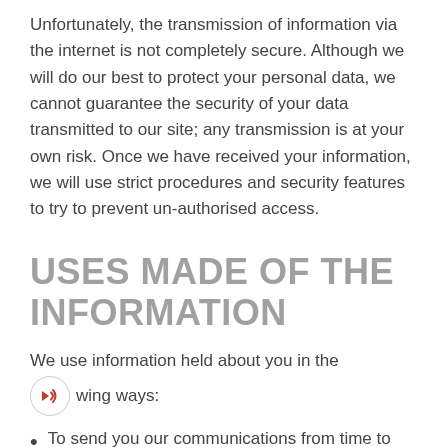Unfortunately, the transmission of information via the internet is not completely secure. Although we will do our best to protect your personal data, we cannot guarantee the security of your data transmitted to our site; any transmission is at your own risk. Once we have received your information, we will use strict procedures and security features to try to prevent un-authorised access.
USES MADE OF THE INFORMATION
We use information held about you in the following ways:
To send you our communications from time to